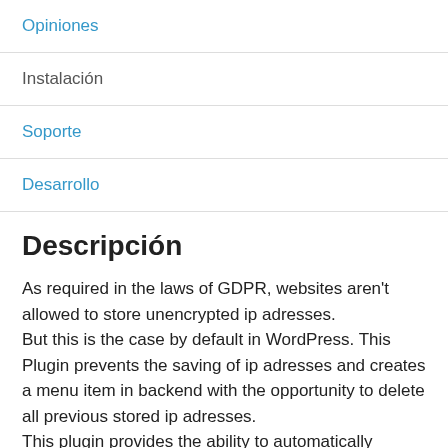Opiniones
Instalación
Soporte
Desarrollo
Descripción
As required in the laws of GDPR, websites aren't allowed to store unencrypted ip adresses.
But this is the case by default in WordPress. This Plugin prevents the saving of ip adresses and creates a menu item in backend with the opportunity to delete all previous stored ip adresses.
This plugin provides the ability to automatically remove ip addresses after a user-defined time.
The GDPR conformity hasn't been proved by an